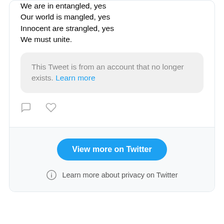We are in entangled, yes
Our world is mangled, yes
Innocent are strangled, yes
We must unite.
This Tweet is from an account that no longer exists. Learn more
[Figure (screenshot): Tweet action icons: comment bubble and heart/like icon]
View more on Twitter
Learn more about privacy on Twitter